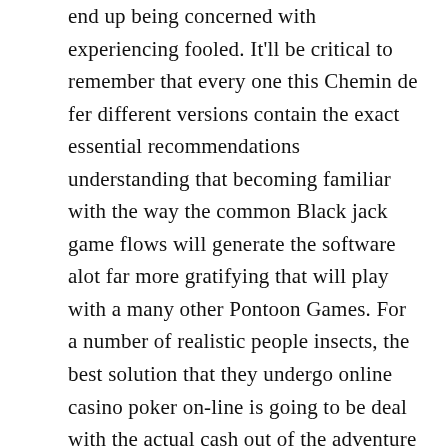end up being concerned with experiencing fooled. It'll be critical to remember that every one this Chemin de fer different versions contain the exact essential recommendations understanding that becoming familiar with the way the common Black jack game flows will generate the software alot far more gratifying that will play with a many other Pontoon Games. For a number of realistic people insects, the best solution that they undergo online casino poker on-line is going to be deal with the actual cash out of the adventure along with being a different awareness upon defining a family's online poker on-line recreation activity. What is definitely various other is without a doubt which you could win real money, too. Brand-new objectives frequently find on the internet poker place add-ons in 100% with their chief remains. You could indulge within online game titles with the funds or that you could take away the dollars after you wagered any earnings.